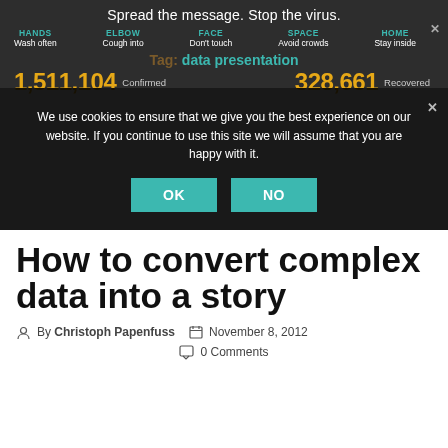Spread the message. Stop the virus.
HANDS Wash often   ELBOW Cough into   FACE Don't touch   SPACE Avoid crowds   HOME Stay inside
Tag: data presentation
1,511,104 Confirmed   328,661 Recovered
We use cookies to ensure that we give you the best experience on our website. If you continue to use this site we will assume that you are happy with it.
How to convert complex data into a story
By Christoph Papenfuss   November 8, 2012
0 Comments